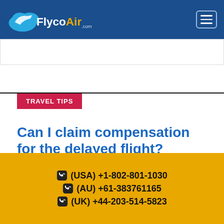FlycoAir.com — navigation header with hamburger menu
TRAVEL TIPS
Can I claim compensation for the delayed flight?
Flight delay and cancellation are daily events in air travel. When either happens, it's essential to know about you can get the compensation or
(USA) +1-802-801-1030 | (AU) +61-383761165 | (UK) +44-203-514-5823